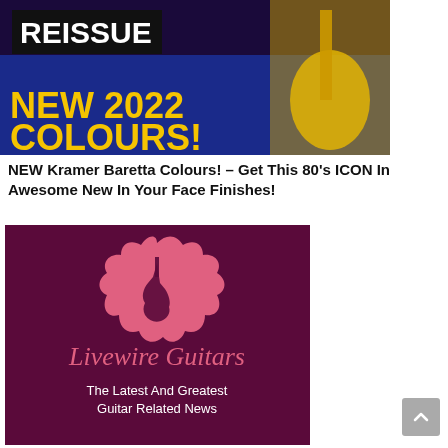[Figure (screenshot): Banner image showing a guitar reissue advertisement with text 'REISSUE' in white on dark background and 'NEW 2022 COLOURS!' in yellow on dark blue background. A yellow guitar is visible on the right side with a person holding it.]
NEW Kramer Baretta Colours! – Get This 80's ICON In Awesome New In Your Face Finishes!
[Figure (logo): Livewire Guitars logo on dark maroon/purple background. Pink scalloped badge with a dark guitar silhouette, text 'Livewire Guitars' in pink script, and 'The Latest And Greatest Guitar Related News' in white below.]